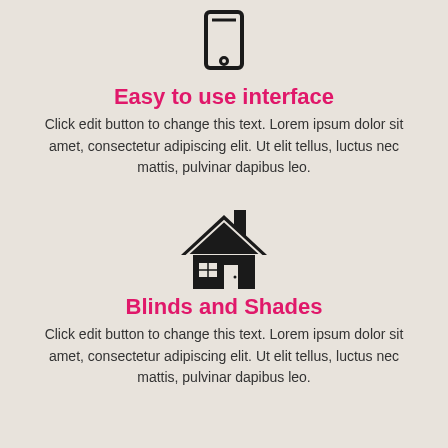[Figure (illustration): Black outline icon of a tablet/smartphone device]
Easy to use interface
Click edit button to change this text. Lorem ipsum dolor sit amet, consectetur adipiscing elit. Ut elit tellus, luctus nec mattis, pulvinar dapibus leo.
[Figure (illustration): Black silhouette icon of a house with chimney]
Blinds and Shades
Click edit button to change this text. Lorem ipsum dolor sit amet, consectetur adipiscing elit. Ut elit tellus, luctus nec mattis, pulvinar dapibus leo.